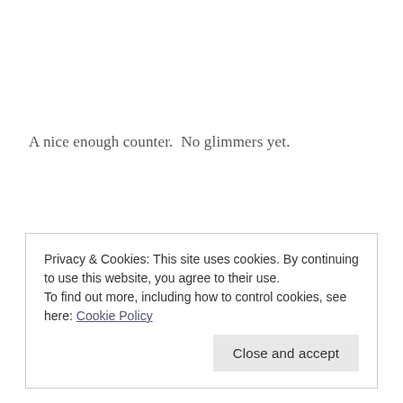A nice enough counter.  No glimmers yet.
Privacy & Cookies: This site uses cookies. By continuing to use this website, you agree to their use.
To find out more, including how to control cookies, see here: Cookie Policy
Close and accept